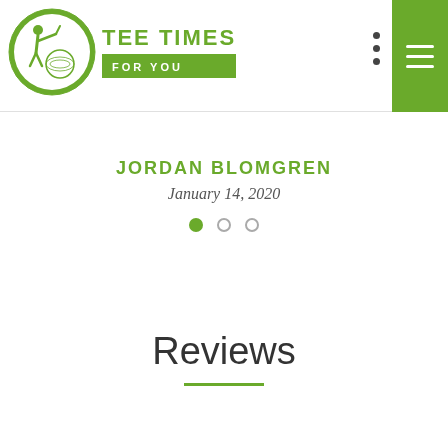TEE TIMES FOR YOU
JORDAN BLOMGREN
January 14, 2020
Reviews